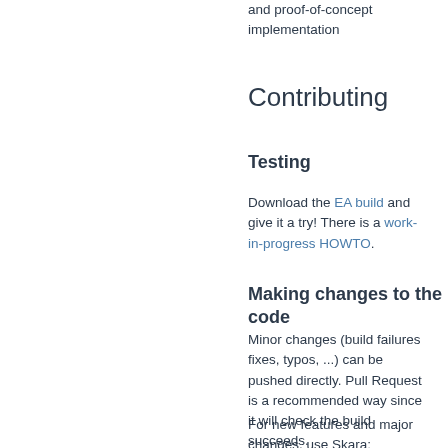and proof-of-concept implementation
Contributing
Testing
Download the EA build and give it a try! There is a work-in-progress HOWTO.
Making changes to the code
Minor changes (build failures fixes, typos, ...) can be pushed directly. Pull Request is a recommended way since it will check the build succeeds.
For new features and major changes, use Skara: